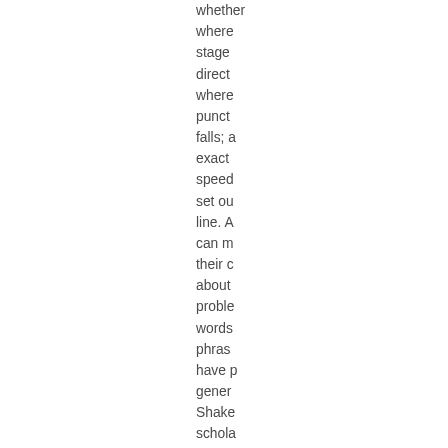whether where stage direct where punct falls; a exact speed set ou line. A can m their c about proble words phras have p gener Shake schola As an additi under